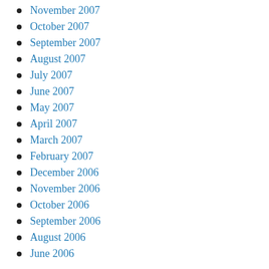November 2007
October 2007
September 2007
August 2007
July 2007
June 2007
May 2007
April 2007
March 2007
February 2007
December 2006
November 2006
October 2006
September 2006
August 2006
June 2006